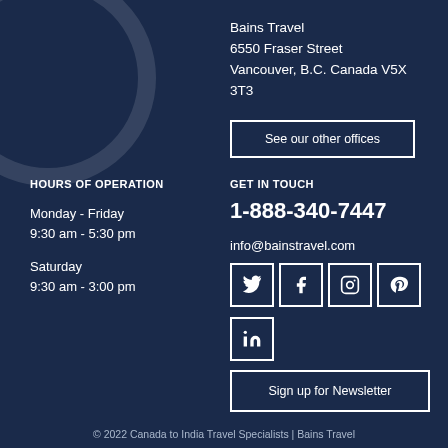Bains Travel
6550 Fraser Street
Vancouver, B.C. Canada V5X 3T3
See our other offices
HOURS OF OPERATION
GET IN TOUCH
Monday - Friday
9:30 am - 5:30 pm
1-888-340-7447
info@bainstravel.com
Saturday
9:30 am - 3:00 pm
[Figure (other): Social media icons: Twitter, Facebook, Instagram, Pinterest, LinkedIn]
Sign up for Newsletter
© 2022 Canada to India Travel Specialists | Bains Travel